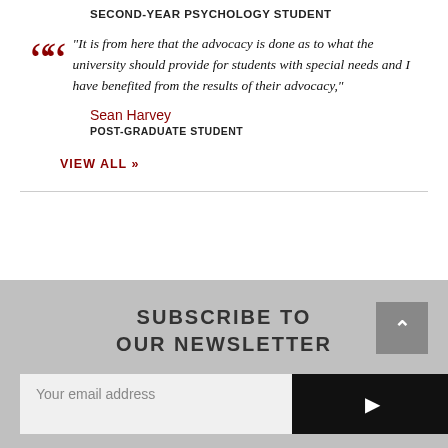SECOND-YEAR PSYCHOLOGY STUDENT
"It is from here that the advocacy is done as to what the university should provide for students with special needs and I have benefited from the results of their advocacy,"
Sean Harvey
POST-GRADUATE STUDENT
VIEW ALL »
SUBSCRIBE TO OUR NEWSLETTER
Your email address